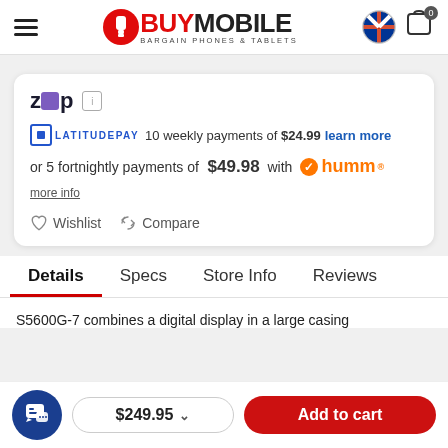[Figure (logo): BuyMobile Bargain Phones & Tablets logo with hamburger menu, Australian flag, and cart icon with 0 badge]
zip [logo] i
LATITUDEPAY  10 weekly payments of $24.99 learn more
or 5 fortnightly payments of $49.98 with humm™
more info
♡ Wishlist  ↻ Compare
Details  Specs  Store Info  Reviews
S5600G-7 combines a digital display in a large casing
$249.95 ∨  Add to cart